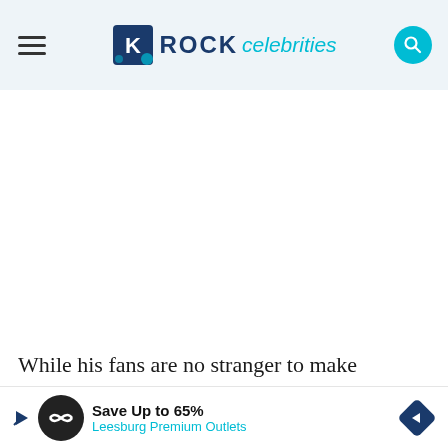ROCK celebrities
[Figure (other): White advertisement placeholder space]
While his fans are no stranger to make deductions out of his words since Maynard James Keenan never reveals his point obviously, the musician made it pretty clear this ti... to bi...
[Figure (other): Advertisement banner: Save Up to 65% Leesburg Premium Outlets]